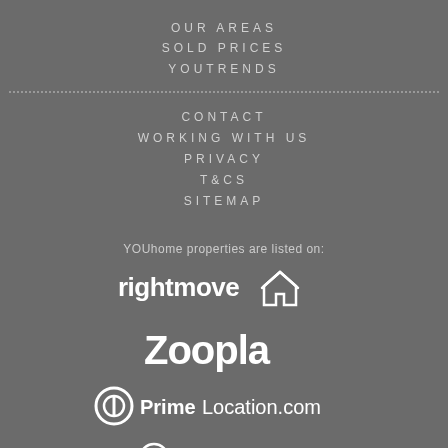OUR AREAS
SOLD PRICES
YOUTRENDS
CONTACT
WORKING WITH US
PRIVACY
T&CS
SITEMAP
YOUhome properties are listed on:
[Figure (logo): rightmove logo with house icon]
[Figure (logo): Zoopla logo]
[Figure (logo): PrimeLocation.com logo with P icon]
[Figure (logo): The Market logo (partially visible)]